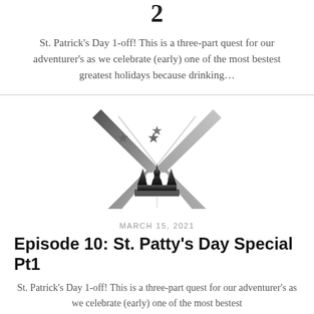2
St. Patrick's Day 1-off! This is a three-part quest for our adventurer's as we celebrate (early) one of the most bestest greatest holidays because drinking…
[Figure (logo): Crown logo with stars and V-shape wings, gray gradient style]
MARCH 15, 2021
Episode 10: St. Patty's Day Special Pt1
St. Patrick's Day 1-off! This is a three-part quest for our adventurer's as we celebrate (early) one of the most bestest